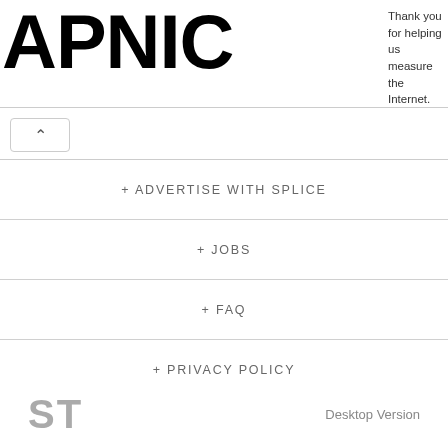APNIC — Thank you for helping us measure the Internet.
+ ADVERTISE WITH SPLICE
+ JOBS
+ FAQ
+ PRIVACY POLICY
+ TERMS & CONDITIONS
+ © SPLICETODAY LLC ALL RIGHTS RESERVED
ST    Desktop Version